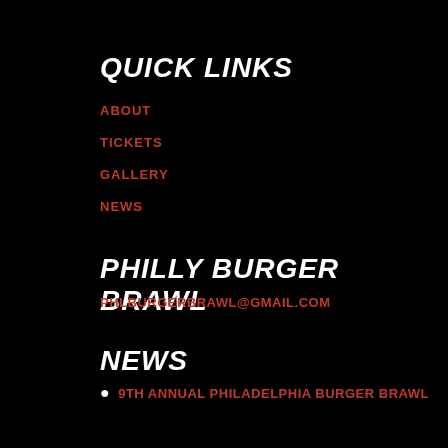QUICK LINKS
ABOUT
TICKETS
GALLERY
NEWS
PHILLY BURGER BRAWL
PHLBURGERBRAWL@GMAIL.COM
NEWS
9TH ANNUAL PHILADELPHIA BURGER BRAWL